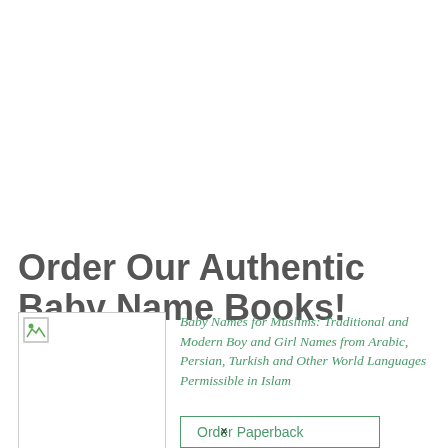Order Our Authentic Baby Name Books!
[Figure (illustration): Book cover thumbnail placeholder image with broken image icon in top-left corner]
Baby Names for Muslims: Traditional and Modern Boy and Girl Names from Arabic, Persian, Turkish and Other World Languages Permissible in Islam
Order Paperback
x